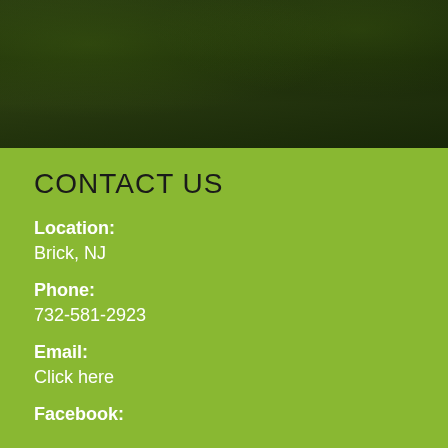[Figure (photo): Aerial or close-up outdoor/garden photo with dark green foliage and shadowy landscape, partially cropped at the top of the page]
CONTACT US
Location: Brick, NJ
Phone: 732-581-2923
Email: Click here
Facebook: